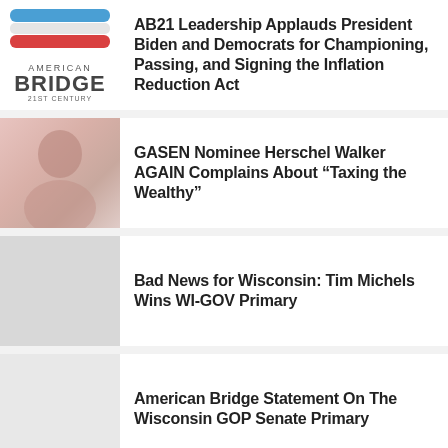[Figure (logo): American Bridge 21st Century logo with red and blue stripes]
AB21 Leadership Applauds President Biden and Democrats for Championing, Passing, and Signing the Inflation Reduction Act
[Figure (photo): Photo of Herschel Walker]
GASEN Nominee Herschel Walker AGAIN Complains About “Taxing the Wealthy”
[Figure (photo): Grey placeholder thumbnail]
Bad News for Wisconsin: Tim Michels Wins WI-GOV Primary
[Figure (photo): Light grey placeholder thumbnail]
American Bridge Statement On The Wisconsin GOP Senate Primary